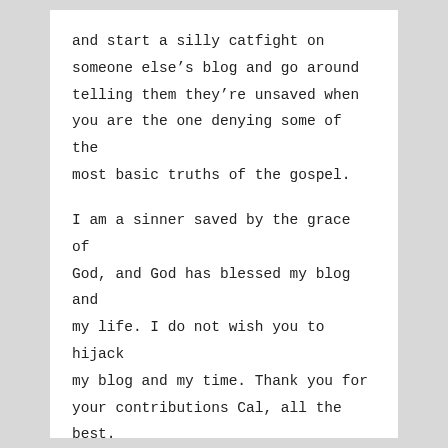and start a silly catfight on someone else's blog and go around telling them they're unsaved when you are the one denying some of the most basic truths of the gospel.
I am a sinner saved by the grace of God, and God has blessed my blog and my life. I do not wish you to hijack my blog and my time. Thank you for your contributions Cal, all the best.
★ Like